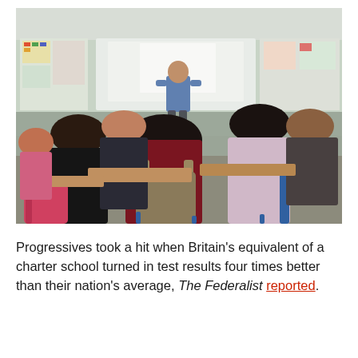[Figure (photo): Classroom photo showing students seated at desks facing a teacher standing at a whiteboard/projector screen. Students are diverse, seen from behind. Backpacks visible. Colorful posters on walls.]
Progressives took a hit when Britain's equivalent of a charter school turned in test results four times better than their nation's average, The Federalist reported.